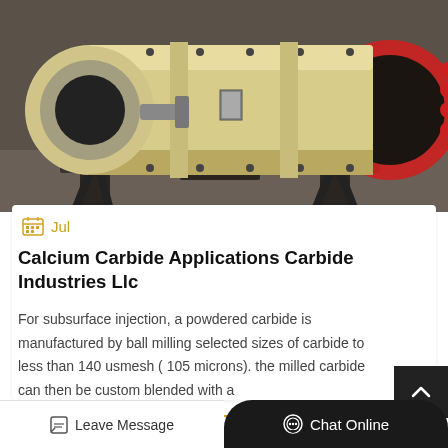[Figure (photo): Ball mill industrial equipment — large cylindrical cream/beige colored mill on metal frame with red gear ring visible on right side]
Jul
Calcium Carbide Applications Carbide Industries Llc
For subsurface injection, a powdered carbide is manufactured by ball milling selected sizes of carbide to less than 140 usmesh ( 105 microns). the milled carbide can then be custom blended with a
Get Price
Leave Message
Chat Online